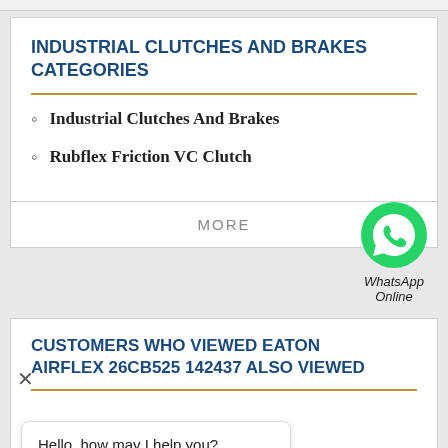INDUSTRIAL CLUTCHES AND BRAKES CATEGORIES
Industrial Clutches And Brakes
Rubflex Friction VC Clutch
MORE
[Figure (logo): WhatsApp green circle icon with phone handset, labeled 'WhatsApp Online']
CUSTOMERS WHO VIEWED EATON AIRFLEX 26CB525 142437 ALSO VIEWED
Hello, how may I help you?
Chat now
[Figure (photo): Blue industrial clutch/brake product photo with 'Best Price' text overlay in red italic]